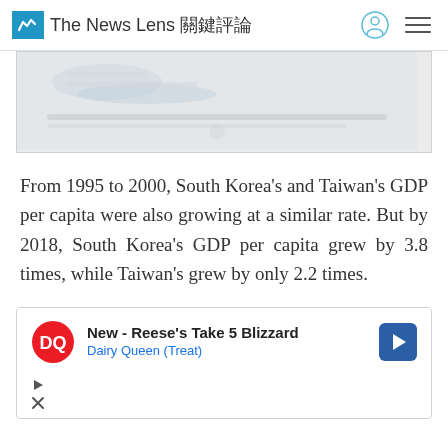The News Lens 關鍵評論
[Figure (other): Blurred/redacted chart or image, partially visible at top of page]
From 1995 to 2000, South Korea's and Taiwan's GDP per capita were also growing at a similar rate. But by 2018, South Korea's GDP per capita grew by 3.8 times, while Taiwan's grew by only 2.2 times.
[Figure (other): Advertisement: New - Reese's Take 5 Blizzard, Dairy Queen (Treat), with DQ logo and navigation arrow]